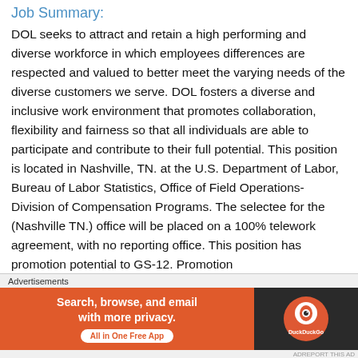Job Summary:
DOL seeks to attract and retain a high performing and diverse workforce in which employees differences are respected and valued to better meet the varying needs of the diverse customers we serve. DOL fosters a diverse and inclusive work environment that promotes collaboration, flexibility and fairness so that all individuals are able to participate and contribute to their full potential. This position is located in Nashville, TN. at the U.S. Department of Labor, Bureau of Labor Statistics, Office of Field Operations-Division of Compensation Programs. The selectee for the (Nashville TN.) office will be placed on a 100% telework agreement, with no reporting office. This position has promotion potential to GS-12. Promotion
Advertisements
[Figure (screenshot): DuckDuckGo advertisement banner: orange left panel with text 'Search, browse, and email with more privacy. All in One Free App' and dark right panel with DuckDuckGo logo]